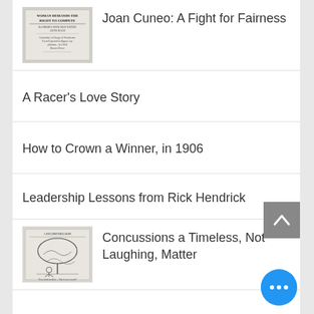Joan Cuneo: A Fight for Fairness
A Racer's Love Story
How to Crown a Winner, in 1906
Leadership Lessons from Rick Hendrick
Concussions a Timeless, Not Laughing, Matter